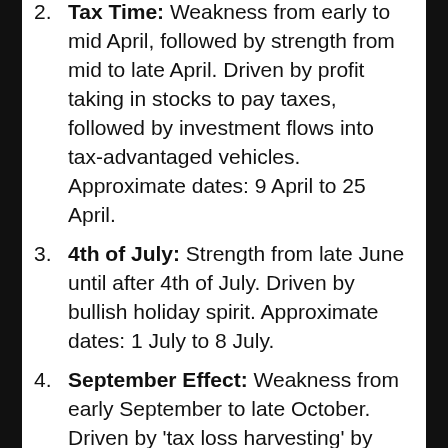Tax Time: Weakness from early to mid April, followed by strength from mid to late April. Driven by profit taking in stocks to pay taxes, followed by investment flows into tax-advantaged vehicles. Approximate dates: 9 April to 25 April.
4th of July: Strength from late June until after 4th of July. Driven by bullish holiday spirit. Approximate dates: 1 July to 8 July.
September Effect: Weakness from early September to late October. Driven by 'tax loss harvesting' by mutual funds. 3rd quarter profit